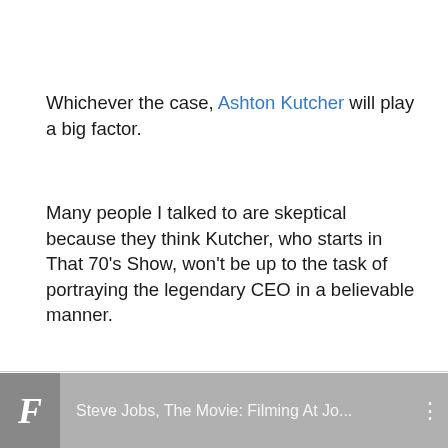Whichever the case, Ashton Kutcher will play a big factor.
Many people I talked to are skeptical because they think Kutcher, who starts in That 70's Show, won't be up to the task of portraying the legendary CEO in a believable manner.
Others point out his remarkable similarities with a young Steve Jobs that to a certain extent does help with the actor's performance.
[Figure (screenshot): Footer bar with Forbes F logo and text: Steve Jobs, The Movie: Filming At Jo...]